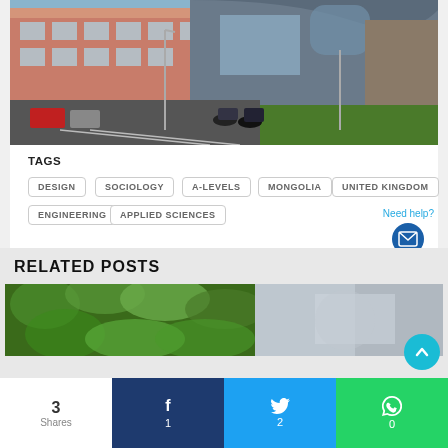[Figure (photo): University building exterior with modern curved architecture, brick and glass facades, motorcycles parked in front, green lawn, parked cars, road markings]
TAGS
DESIGN
SOCIOLOGY
A-LEVELS
MONGOLIA
UNITED KINGDOM
ENGINEERING
APPLIED SCIENCES
RELATED POSTS
[Figure (photo): Close-up of green foliage/plants]
[Figure (photo): Blurred grey/blue image, partial view]
3 Shares
1
2
0